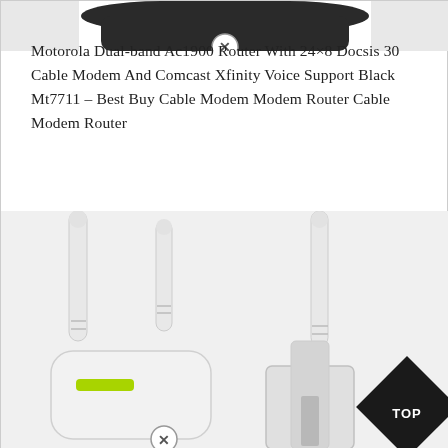[Figure (photo): Top portion of a dark-colored router/modem device with a circular close (X) button overlay visible at the bottom center of the cropped image.]
Motorola Dual-band Ac1900 Router With 24×8 Docsis 30 Cable Modem And Comcast Xfinity Voice Support Black Mt7711 – Best Buy Cable Modem Modem Router Cable Modem Router
[Figure (photo): Two white Wi-Fi networking devices (a range extender on the left with two antennas and a green LED, and a router stand on the right with one antenna), each having a circular close (X) button overlay. A black diamond-shaped 'TOP' badge is visible at the bottom right corner.]